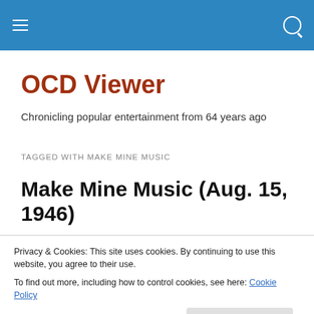OCD Viewer [navigation bar with hamburger menu and search icon]
OCD Viewer
Chronicling popular entertainment from 64 years ago
TAGGED WITH MAKE MINE MUSIC
Make Mine Music (Aug. 15, 1946)
Privacy & Cookies: This site uses cookies. By continuing to use this website, you agree to their use.
To find out more, including how to control cookies, see here: Cookie Policy
Close and accept